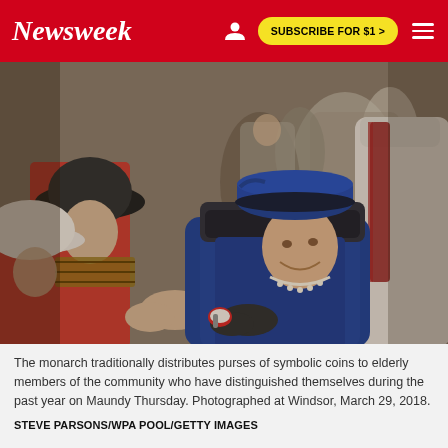Newsweek | SUBSCRIBE FOR $1 >
[Figure (photo): Queen Elizabeth II in a blue coat and hat hands something to an elderly person at a Maundy Thursday ceremony at Windsor. She is smiling and leaning forward. There are other people in the background including clergy in white robes.]
The monarch traditionally distributes purses of symbolic coins to elderly members of the community who have distinguished themselves during the past year on Maundy Thursday. Photographed at Windsor, March 29, 2018.
STEVE PARSONS/WPA POOL/GETTY IMAGES